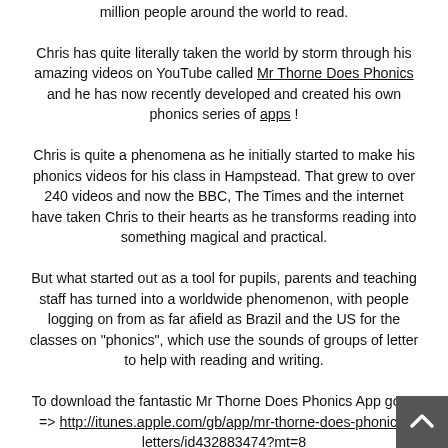million people around the world to read.
Chris has quite literally taken the world by storm through his amazing videos on YouTube called Mr Thorne Does Phonics and he has now recently developed and created his own phonics series of apps !
Chris is quite a phenomena as he initially started to make his phonics videos for his class in Hampstead. That grew to over 240 videos and now the BBC, The Times and the internet have taken Chris to their hearts as he transforms reading into something magical and practical.
But what started out as a tool for pupils, parents and teaching staff has turned into a worldwide phenomenon, with people logging on from as far afield as Brazil and the US for the classes on "phonics", which use the sounds of groups of letter to help with reading and writing.
To download the fantastic Mr Thorne Does Phonics App go to => http://itunes.apple.com/gb/app/mr-thorne-does-phonics-letters/id432883474?mt=8